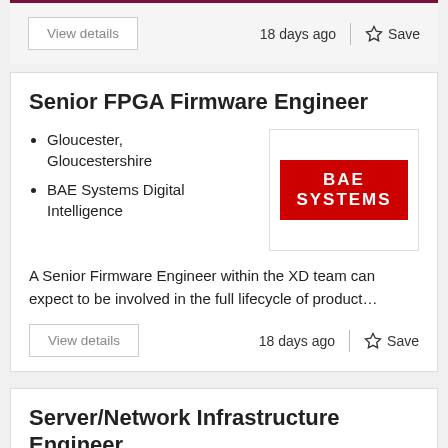View details   18 days ago   Save
Senior FPGA Firmware Engineer
Gloucester, Gloucestershire
BAE Systems Digital Intelligence
[Figure (logo): BAE SYSTEMS logo — white text on red background]
A Senior Firmware Engineer within the XD team can expect to be involved in the full lifecycle of product…
View details   18 days ago   Save
Server/Network Infrastructure Engineer